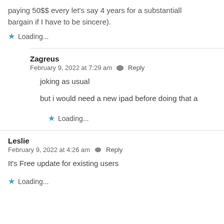paying 50$$ every let's say 4 years for a substantial bargain if I have to be sincere).
Loading...
Zagreus
February 9, 2022 at 7:29 am  Reply
joking as usual
but i would need a new ipad before doing that a
Loading...
Leslie
February 9, 2022 at 4:26 am  Reply
It's Free update for existing users
Loading...